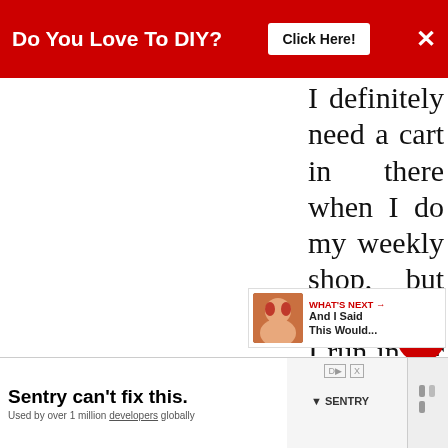Do You Love To DIY?  Click Here!  ✕
I definitely need a cart in there when I do my weekly shop, but sometimes, I run in for milk and grab a cart and before I know it, it's full of stuff we didn't really need (or shouldn't be eating!!). My mom always said that when you leave the house it's very hard not to spend money and she's right...be it gas, food or stuff. I [went for a] walk at the beach. No carts there at all!! :)
[Figure (screenshot): What's Next panel showing a thumbnail and text 'And I Said This Would...']
[Figure (screenshot): Bottom advertisement: Sentry can't fix this. Used by over 1 million developers globally, with Sentry logo]